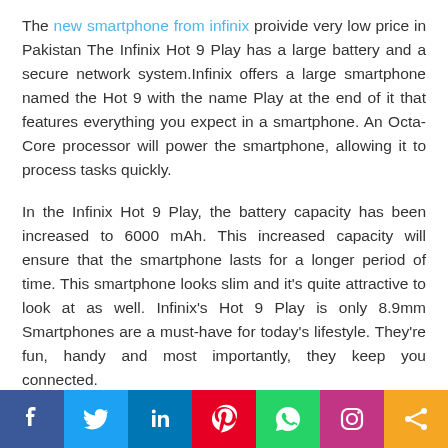The new smartphone from infinix proivide very low price in Pakistan The Infinix Hot 9 Play has a large battery and a secure network system.Infinix offers a large smartphone named the Hot 9 with the name Play at the end of it that features everything you expect in a smartphone. An Octa-Core processor will power the smartphone, allowing it to process tasks quickly.
In the Infinix Hot 9 Play, the battery capacity has been increased to 6000 mAh. This increased capacity will ensure that the smartphone lasts for a longer period of time. This smartphone looks slim and it's quite attractive to look at as well. Infinix's Hot 9 Play is only 8.9mm Smartphones are a must-have for today's lifestyle. They're fun, handy and most importantly, they keep you connected.
[Figure (infographic): Social media share bar with icons: Facebook, Twitter, LinkedIn, Pinterest, WhatsApp, Instagram, Share]